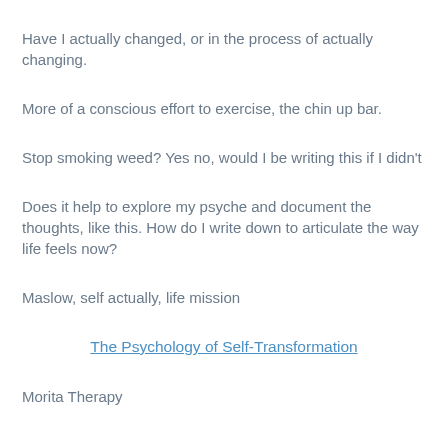Have I actually changed, or in the process of actually changing.
More of a conscious effort to exercise, the chin up bar.
Stop smoking weed? Yes no, would I be writing this if I didn't
Does it help to explore my psyche and document the thoughts, like this. How do I write down to articulate the way life feels now?
Maslow, self actually, life mission
The Psychology of Self-Transformation
Morita Therapy